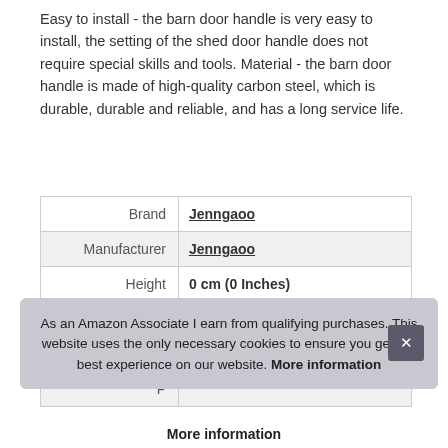Easy to install - the barn door handle is very easy to install, the setting of the shed door handle does not require special skills and tools. Material - the barn door handle is made of high-quality carbon steel, which is durable, durable and reliable, and has a long service life.
|  |  |
| --- | --- |
| Brand | Jenngaoo |
| Manufacturer | Jenngaoo |
| Height | 0 cm (0 Inches) |
| Length | 0 cm (0 Inches) |
| Weight | 0.29 kg (0.64 Pounds) |
| P |  |
As an Amazon Associate I earn from qualifying purchases. This website uses the only necessary cookies to ensure you get the best experience on our website. More information
More information